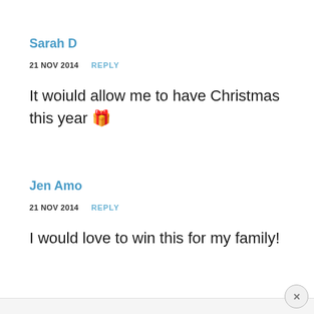Sarah D
21 NOV 2014   REPLY
It woiuld allow me to have Christmas this year 🎁
Jen Amo
21 NOV 2014   REPLY
I would love to win this for my family!